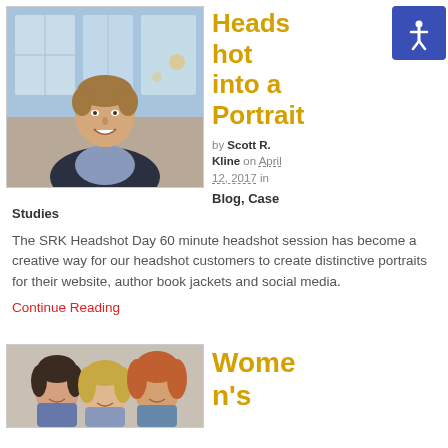[Figure (photo): Professional headshot of a smiling man in a dark blazer and light blue shirt, standing in a modern office/cafe environment with large windows.]
Heads hot into a Portrait
by Scott R. Kline on April 12, 2017 in Blog, Case Studies
The SRK Headshot Day 60 minute headshot session has become a creative way for our headshot customers to create distinctive portraits for their website, author book jackets and social media.
Continue Reading
[Figure (photo): Three women standing together, one with dark hair, one blonde, one with curly reddish hair, photographed in a professional headshot style.]
Women's